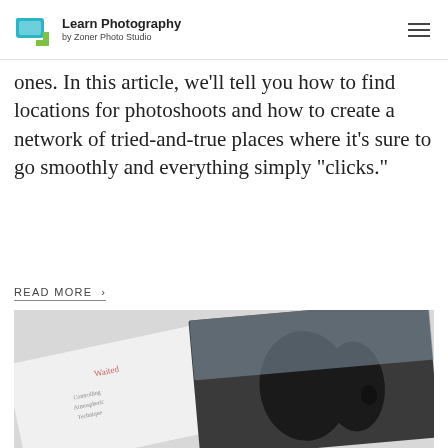Learn Photography by Zoner Photo Studio
ones. In this article, we'll tell you how to find locations for photoshoots and how to create a network of tried-and-true places where it's sure to go smoothly and everything simply "clicks."
READ MORE ›
[Figure (photo): Close-up photo of printed photographs on a light surface, one photo showing a dark atmospheric landscape with a tree silhouette, with text partially visible on a white card reading what appears to be 'atmospheric technique']